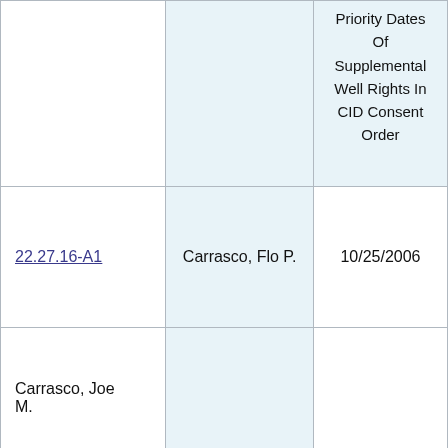|  | Name | Priority Dates Of Supplemental Well Rights In CID Consent Order |
| --- | --- | --- |
| 22.27.16-A1 | Carrasco, Flo P. | 10/25/2006 |
| Carrasco, Joe M. |  |  |
| 22.27.16-A2 | Morton, Georgia | 3/7/2007 |